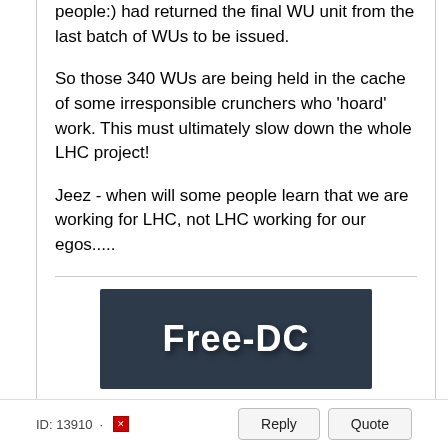people:) had returned the final WU unit from the last batch of WUs to be issued.
So those 340 WUs are being held in the cache of some irresponsible crunchers who 'hoard' work. This must ultimately slow down the whole LHC project!
Jeez - when will some people learn that we are working for LHC, not LHC working for our egos.....
[Figure (logo): Free-DC logo banner, dark navy background with white bold text reading 'Free-DC']
ID: 13910 · Reply | Quote